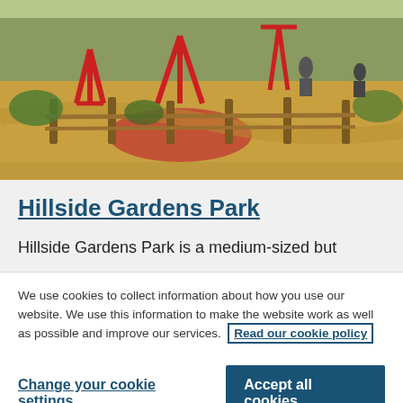[Figure (photo): Outdoor playground at Hillside Gardens Park with red climbing frames, wooden fence posts, and sandy/rubber surface. People visible in the background.]
Hillside Gardens Park
Hillside Gardens Park is a medium-sized but
We use cookies to collect information about how you use our website. We use this information to make the website work as well as possible and improve our services.  Read our cookie policy
Change your cookie settings
Accept all cookies